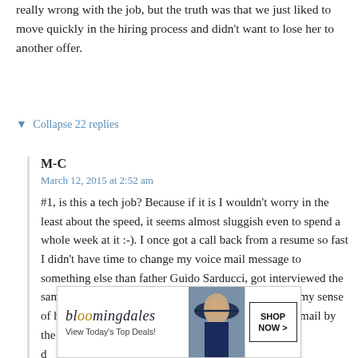really wrong with the job, but the truth was that we just liked to move quickly in the hiring process and didn't want to lose her to another offer.
▼ Collapse 22 replies
M-C
March 12, 2015 at 2:52 am
#1, is this a tech job? Because if it is I wouldn't worry in the least about the speed, it seems almost sluggish even to spend a whole week at it :-). I once got a call back from a resume so fast I didn't have time to change my voice mail message to something else than father Guido Sarducci, got interviewed the same afternoon, hit it off with the manager who liked my sense of humor, and had an offer waiting on the same voice mail by the time I got home. G[CLOSE]b too, one d[ad]t celeb[ad]
[Figure (other): Bloomingdale's advertisement banner with logo, woman in blue hat, and SHOP NOW button]